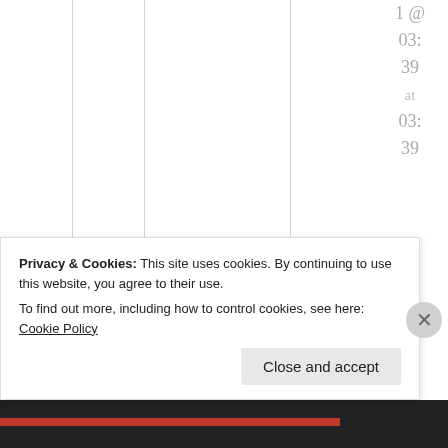1 @ 03: 39 at 03: 39
Yup. I'm formulating a plan. We will have to
Privacy & Cookies: This site uses cookies. By continuing to use this website, you agree to their use.
To find out more, including how to control cookies, see here: Cookie Policy
Close and accept